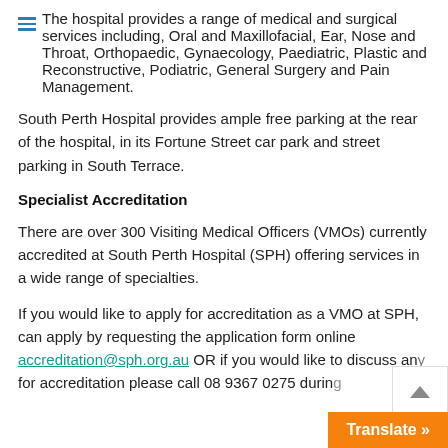The hospital provides a range of medical and surgical services including, Oral and Maxillofacial, Ear, Nose and Throat, Orthopaedic, Gynaecology, Paediatric, Plastic and Reconstructive, Podiatric, General Surgery and Pain Management.
South Perth Hospital provides ample free parking at the rear of the hospital, in its Fortune Street car park and street parking in South Terrace.
Specialist Accreditation
There are over 300 Visiting Medical Officers (VMOs) currently accredited at South Perth Hospital (SPH) offering services in a wide range of specialties.
If you would like to apply for accreditation as a VMO at SPH, can apply by requesting the application form online accreditation@sph.org.au OR if you would like to discuss any for accreditation please call 08 9367 0275 durin